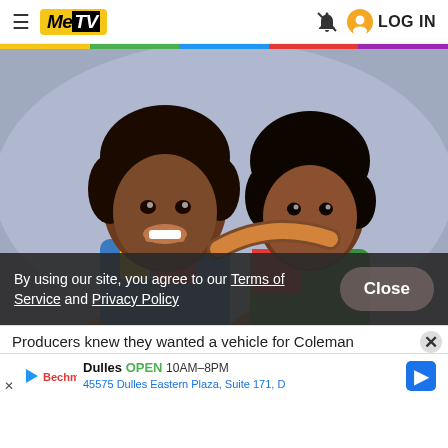MeTV — LOG IN
[Figure (photo): Two young Black boys smiling and posing together against a light purple background, wearing colorful clothing. Promotional photo likely from the TV show Diff'rent Strokes.]
By using our site, you agree to our Terms of Service and Privacy Policy
Close
Producers knew they wanted a vehicle for Coleman
Dulles OPEN 10AM–8PM 45575 Dulles Eastern Plaza, Suite 171, D